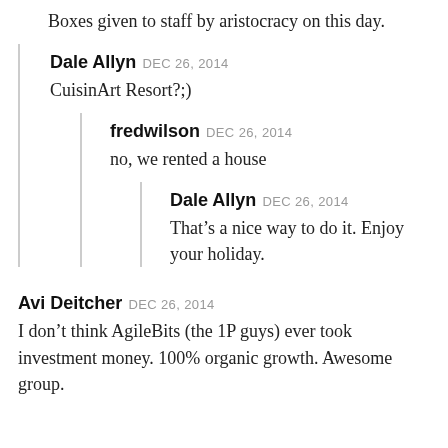Boxes given to staff by aristocracy on this day.
Dale Allyn DEC 26, 2014
CuisinArt Resort?;)
fredwilson DEC 26, 2014
no, we rented a house
Dale Allyn DEC 26, 2014
That’s a nice way to do it. Enjoy your holiday.
Avi Deitcher DEC 26, 2014
I don’t think AgileBits (the 1P guys) ever took investment money. 100% organic growth. Awesome group.